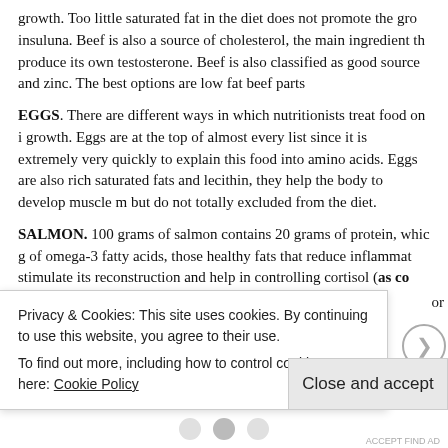growth. Too little saturated fat in the diet does not promote the gro insuluna. Beef is also a source of cholesterol, the main ingredient th produce its own testosterone. Beef is also classified as good source and zinc. The best options are low fat beef parts
EGGS. There are different ways in which nutritionists treat food on i growth. Eggs are at the top of almost every list since it is extremely very quickly to explain this food into amino acids. Eggs are also rich saturated fats and lecithin, they help the body to develop muscle m but do not totally excluded from the diet.
SALMON. 100 grams of salmon contains 20 grams of protein, whic g of omega-3 fatty acids, those healthy fats that reduce inflammat stimulate its reconstruction and help in controlling cortisol (as co level of testosterone per rule growing stimulate muscle growth)
Privacy & Cookies: This site uses cookies. By continuing to use this website, you agree to their use.
To find out more, including how to control cookies, see here: Cookie Policy
Close and accept
ACCEPT FIND AD